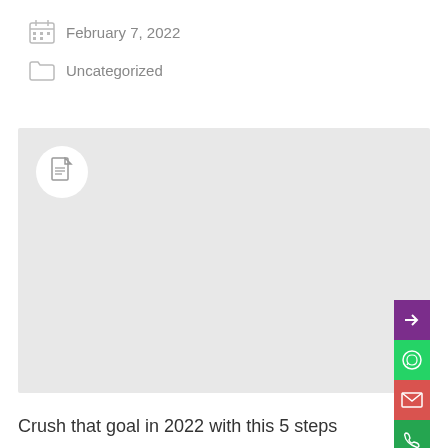February 7, 2022
Uncategorized
[Figure (screenshot): Large light gray placeholder image block with a white circular document icon in the upper left corner and a vertical sidebar of colored buttons (purple, green, red, green) on the right edge with arrows, WhatsApp, email, and phone icons]
Crush that goal in 2022 with this 5 steps